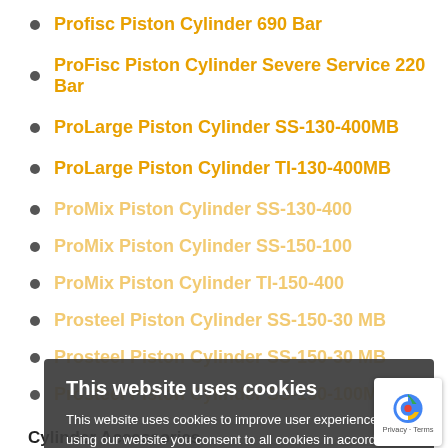Profisc Piston Cylinder 690 Bar
ProFisc Piston Cylinder Severe Service 220 Bar
ProLarge Piston Cylinder SS-130-400MB
ProLarge Piston Cylinder TI-130-400MB
ProMix Piston Cylinder SS-130-400
ProMix Piston Cylinder SS-150-100
ProMix Piston Cylinder TI-150-400
Prosteel Piston Cylinder SS-150-30 MB
Prosteel Piston Cylinder SS-150-30 MB
Prosteel Piston Cylinder SS-150-100MB
This website uses cookies
This website uses cookies to improve user experience. By using our website you consent to all cookies in accordance with our Cookie Policy.
I agree   I disagree
Read more
Cylinder Accessories